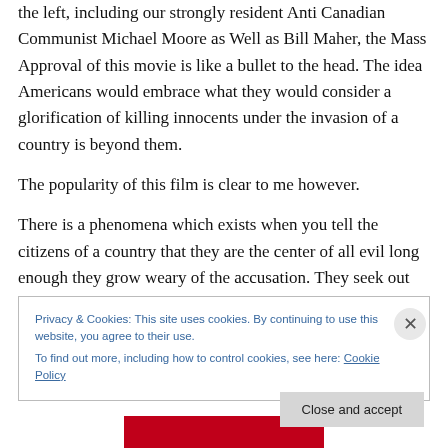the left, including our strongly resident Anti Canadian Communist Michael Moore as Well as Bill Maher, the Mass Approval of this movie is like a bullet to the head. The idea Americans would embrace what they would consider a glorification of killing innocents under the invasion of a country is beyond them.
The popularity of this film is clear to me however.
There is a phenomena which exists when you tell the citizens of a country that they are the center of all evil long enough they grow weary of the accusation. They seek out
Privacy & Cookies: This site uses cookies. By continuing to use this website, you agree to their use.
To find out more, including how to control cookies, see here: Cookie Policy